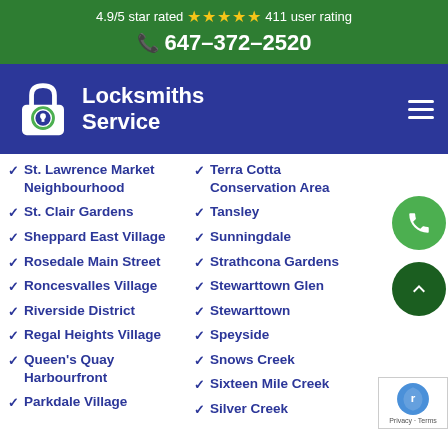4.9/5 star rated ★★★★★ 411 user rating
647-372-2520
Locksmiths Service
St. Lawrence Market Neighbourhood
St. Clair Gardens
Sheppard East Village
Rosedale Main Street
Roncesvalles Village
Riverside District
Regal Heights Village
Queen's Quay Harbourfront
Parkdale Village
Terra Cotta Conservation Area
Tansley
Sunningdale
Strathcona Gardens
Stewarttown Glen
Stewarttown
Speyside
Snows Creek
Sixteen Mile Creek
Silver Creek